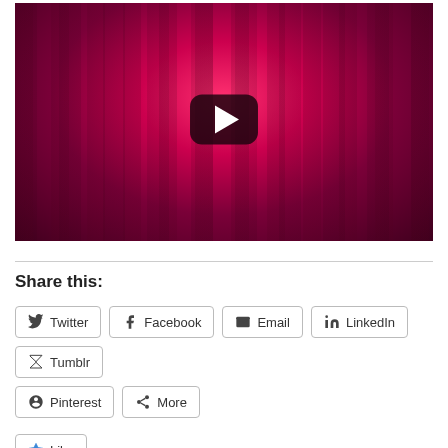[Figure (screenshot): YouTube video thumbnail showing a dark red/magenta glowing scene with a YouTube play button (rounded rectangle with white triangle) in the center]
Share this:
Twitter
Facebook
Email
LinkedIn
Tumblr
Pinterest
More
Like